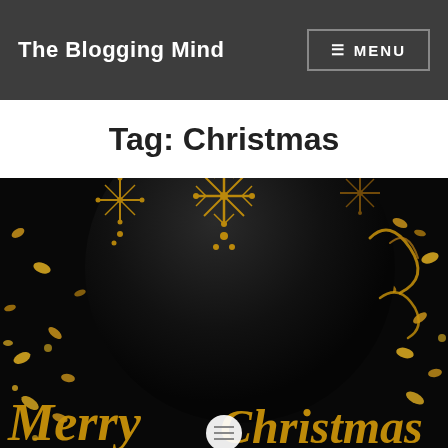The Blogging Mind   ≡ MENU
Tag: Christmas
[Figure (illustration): Dark Christmas-themed decorative image with a large black ornament ball decorated with gold snowflake patterns, surrounded by scattered gold confetti and ribbon pieces on a black background. At the bottom, cursive gold 'Merry Christmas' text is partially visible. A small white circular icon with horizontal lines sits at the very bottom center.]